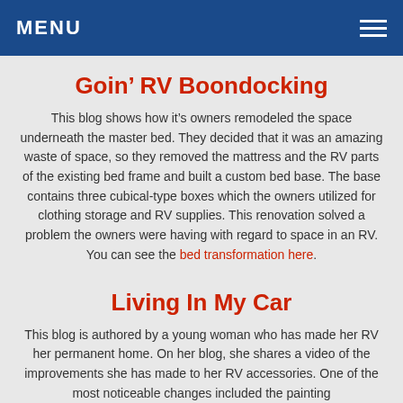MENU
Goin’ RV Boondocking
This blog shows how it’s owners remodeled the space underneath the master bed. They decided that it was an amazing waste of space, so they removed the mattress and the RV parts of the existing bed frame and built a custom bed base. The base contains three cubical-type boxes which the owners utilized for clothing storage and RV supplies. This renovation solved a problem the owners were having with regard to space in an RV. You can see the bed transformation here.
Living In My Car
This blog is authored by a young woman who has made her RV her permanent home. On her blog, she shares a video of the improvements she has made to her RV accessories. One of the most noticeable changes included the painting